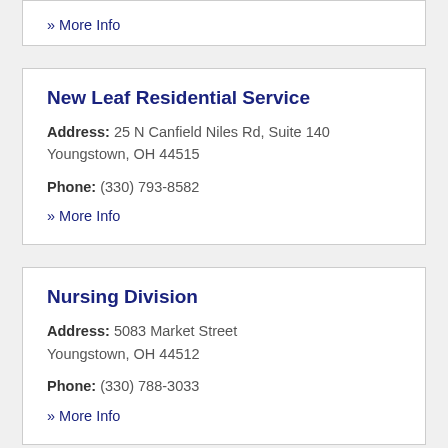» More Info
New Leaf Residential Service
Address: 25 N Canfield Niles Rd, Suite 140 Youngstown, OH 44515
Phone: (330) 793-8582
» More Info
Nursing Division
Address: 5083 Market Street Youngstown, OH 44512
Phone: (330) 788-3033
» More Info